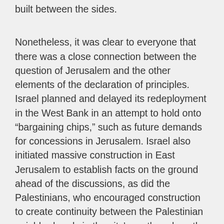built between the sides.
Nonetheless, it was clear to everyone that there was a close connection between the question of Jerusalem and the other elements of the declaration of principles. Israel planned and delayed its redeployment in the West Bank in an attempt to hold onto “bargaining chips,” such as future demands for concessions in Jerusalem. Israel also initiated massive construction in East Jerusalem to establish facts on the ground ahead of the discussions, as did the Palestinians, who encouraged construction to create continuity between the Palestinian neighborhoods in the city’s north and south and the West Bank. Even though it was not stated openly, the Oslo accords served as an introduction to the Camp David summit meeting